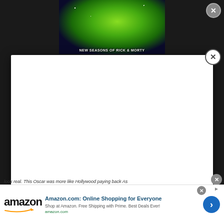[Figure (screenshot): Rick and Morty animated show advertisement banner showing characters in front of a green portal swirl with text 'NEW SEASONS OF RICK & MORTY']
[Figure (screenshot): White modal/popup overlay dialog box open on top of the page content]
[Figure (screenshot): Amazon advertisement banner at bottom: 'Amazon.com: Online Shopping for Everyone' with amazon logo and blue arrow button]